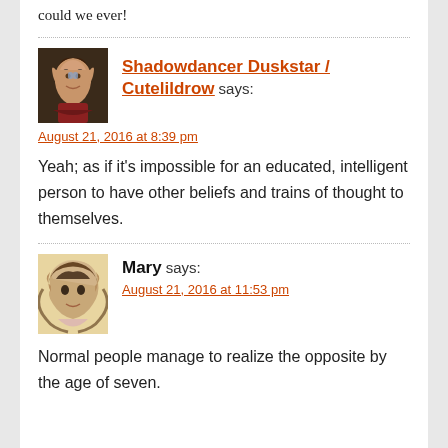could we ever!
Shadowdancer Duskstar / Cutelildrow says:
August 21, 2016 at 8:39 pm
Yeah; as if it’s impossible for an educated, intelligent person to have other beliefs and trains of thought to themselves.
Mary says:
August 21, 2016 at 11:53 pm
Normal people manage to realize the opposite by the age of seven.